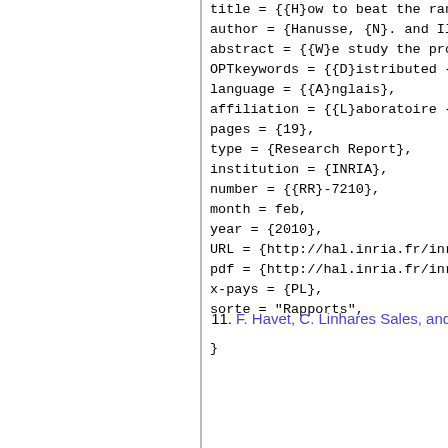title = {{H}ow to beat the random wa
author = {Hanusse, {N}. and Ilcinkas
abstract = {{W}e study the problem o
OPTkeywords = {{D}istributed {C}om
language = {{A}nglais},
affiliation = {{L}aboratoire {B}ordelais
pages = {19},
type = {Research Report},
institution = {INRIA},
number = {{RR}-7210},
month = feb,
year = {2010},
URL = {http://hal.inria.fr/inria-00458
pdf = {http://hal.inria.fr/inria-004588
x-pays = {PL},
sorte = "Rapports",

}
11. F. Havet, C. Linhares Sales, and L. S